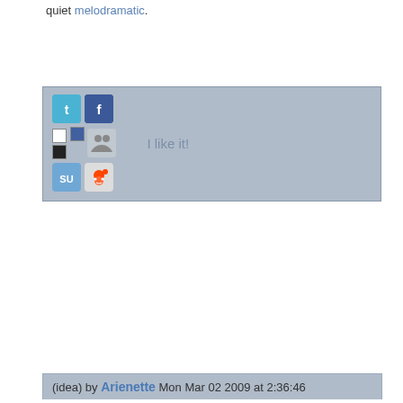quiet melodramatic.
[Figure (infographic): Social sharing buttons row: Twitter icon, Facebook icon, then two small color squares (white and black) with a group icon and 'I like it!' text; below: StumbleUpon and Reddit icons]
(idea) by Arienette Mon Mar 02 2009 at 2:36:46
While all the above reasons are certainly true, there is one point that no one really thinks about.

Adolescent girls feel their bodies are actively working against them. It's one thing to be lonely, but it's a horse of a different color if your body hates you too. It likes to cause you